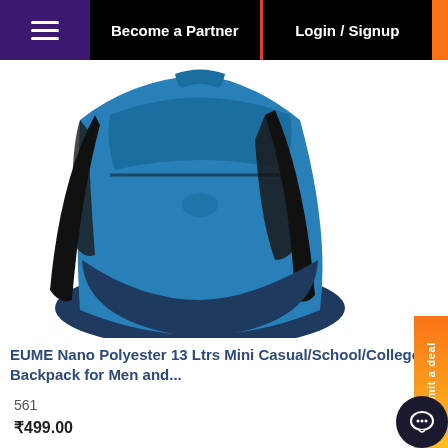Become a Partner | Login / Signup
[Figure (photo): Blue polyester backpack (EUME Nano Polyester) shown from front/top angle on white background]
EUME Nano Polyester 13 Ltrs Mini Casual/School/College Backpack for Men and...
561
₹499.00
[Figure (photo): Grey ShineXPro branded foam roller or resistance band set on white background]